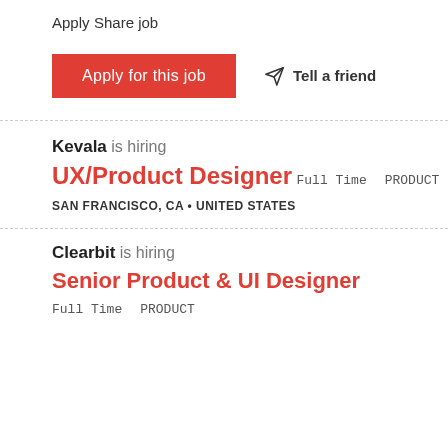Apply
Share job
Apply for this job
Tell a friend
Kevala is hiring
UX/Product Designer
Full Time   PRODUCT
SAN FRANCISCO, CA • UNITED STATES
Clearbit is hiring
Senior Product & UI Designer
Full Time   PRODUCT